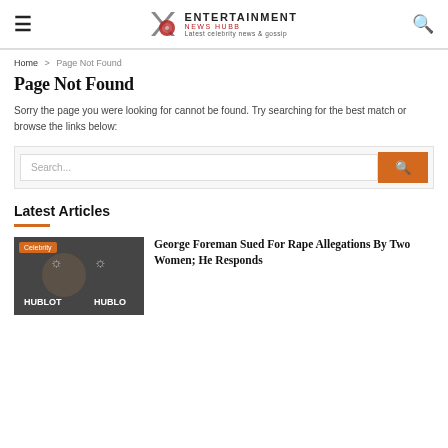ENTERTAINMENT NEWS HUBB — Latest celebrity news & gossip
Home > Page Not Found
Page Not Found
Sorry the page you were looking for cannot be found. Try searching for the best match or browse the links below:
Search...
Latest Articles
George Foreman Sued For Rape Allegations By Two Women; He Responds